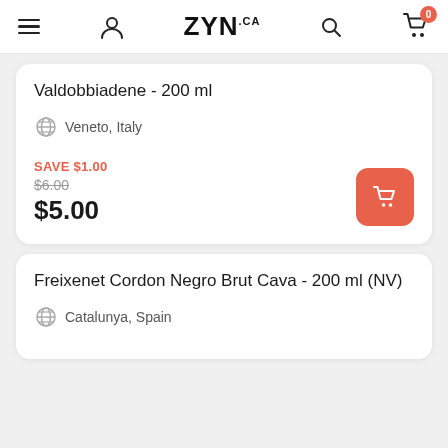ZYN.CA navigation bar with menu, account, logo, search, and cart (0 items)
Valdobbiadene - 200 ml
Veneto, Italy
SAVE $1.00 $6.00 $5.00
Freixenet Cordon Negro Brut Cava - 200 ml (NV)
Catalunya, Spain